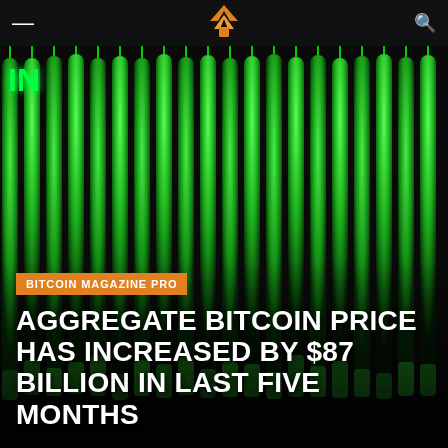— [Bitcoin Magazine Pro logo] 🔍
[Figure (photo): Dark background with vertical green glowing candlestick-like bars arranged in a row, resembling a Bitcoin price chart with green candles on a black background. Partial text 'IN' visible in green on the upper left.]
BITCOIN MAGAZINE PRO
AGGREGATE BITCOIN PRICE HAS INCREASED BY $87 BILLION IN LAST FIVE MONTHS